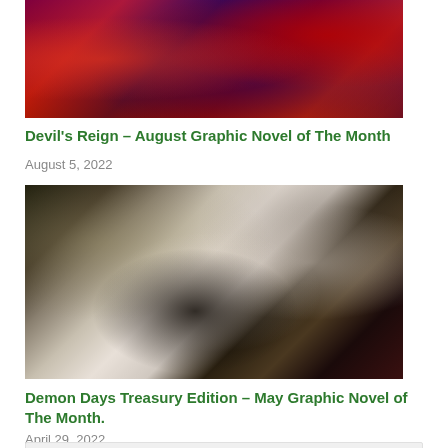[Figure (illustration): Comic book style illustration showing dark red and purple superhero characters with action scene elements]
Devil's Reign – August Graphic Novel of The Month
August 5, 2022
[Figure (illustration): Manga/anime style illustration showing a female character with black and white hair against a decorative background with swirls, plants, and other fantastical elements]
Demon Days Treasury Edition – May Graphic Novel of The Month.
April 29, 2022